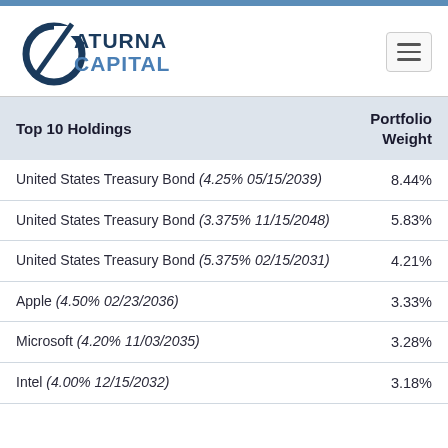[Figure (logo): Saturna Capital logo with stylized circular mark and text]
| Top 10 Holdings | Portfolio Weight |
| --- | --- |
| United States Treasury Bond (4.25% 05/15/2039) | 8.44% |
| United States Treasury Bond (3.375% 11/15/2048) | 5.83% |
| United States Treasury Bond (5.375% 02/15/2031) | 4.21% |
| Apple (4.50% 02/23/2036) | 3.33% |
| Microsoft (4.20% 11/03/2035) | 3.28% |
| Intel (4.00% 12/15/2032) | 3.18% |